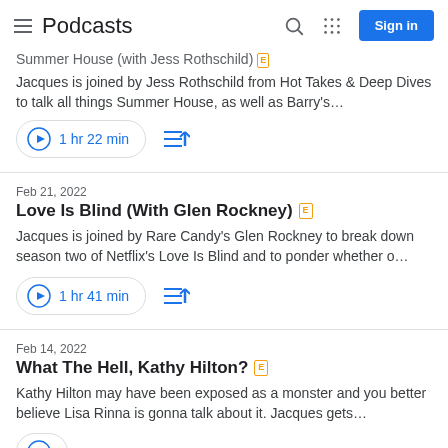Podcasts
Summer House (with Jess Rothschild)
Jacques is joined by Jess Rothschild from Hot Takes & Deep Dives to talk all things Summer House, as well as Barry's…
1 hr 22 min
Feb 21, 2022
Love Is Blind (With Glen Rockney)
Jacques is joined by Rare Candy's Glen Rockney to break down season two of Netflix's Love Is Blind and to ponder whether o…
1 hr 41 min
Feb 14, 2022
What The Hell, Kathy Hilton?
Kathy Hilton may have been exposed as a monster and you better believe Lisa Rinna is gonna talk about it. Jacques gets…